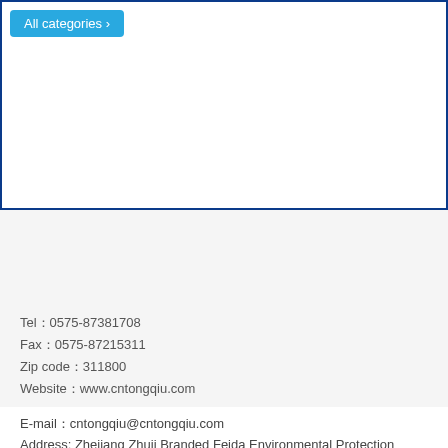[Figure (screenshot): Top white panel with blue border containing an 'All categories >' button in light blue, representing a website navigation UI element]
Tel：0575-87381708
Fax：0575-87215311
Zip code：311800
Website：www.cntongqiu.com
E-mail：cntongqiu@cntongqiu.com
Address: Zhejiang Zhuji Branded Feida Environmental Protection Industrial Park